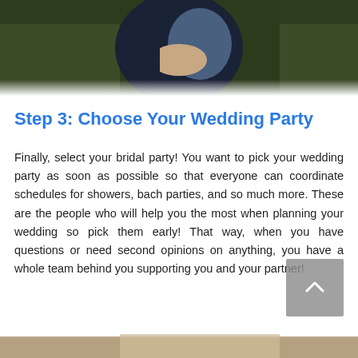[Figure (photo): Partially visible photo at the top of the page showing two people embracing outdoors, with greenery/field in the background. Only the lower portion of their bodies and hands are visible.]
Step 3: Choose Your Wedding Party
Finally, select your bridal party! You want to pick your wedding party as soon as possible so that everyone can coordinate schedules for showers, bach parties, and so much more. These are the people who will help you the most when planning your wedding so pick them early! That way, when you have questions or need second opinions on anything, you have a whole team behind you supporting you and your partner!
[Figure (photo): Partially visible photo at the bottom of the page, cropped — only the very top portion is visible, showing what appears to be a wooden surface with some blurred natural elements.]